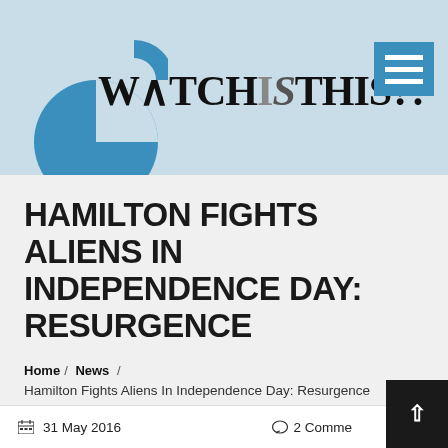WATCHISTHIS?!
HAMILTON FIGHTS ALIENS IN INDEPENDENCE DAY: RESURGENCE
Home / News / Hamilton Fights Aliens In Independence Day: Resurgence
31 May 2016   2 Comments